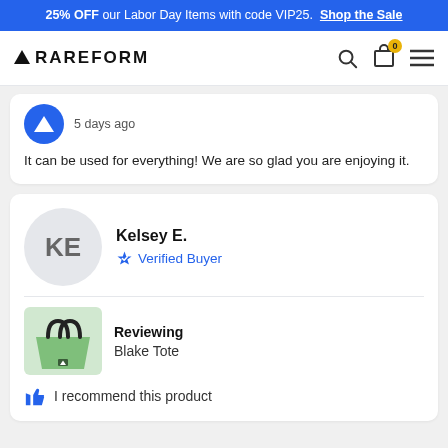25% OFF our Labor Day Items with code VIP25. Shop the Sale
[Figure (logo): RAREFORM logo with triangle icon, plus search, cart (badge: 0), and hamburger menu icons]
5 days ago
It can be used for everything! We are so glad you are enjoying it.
Kelsey E.
Verified Buyer
Reviewing
Blake Tote
I recommend this product